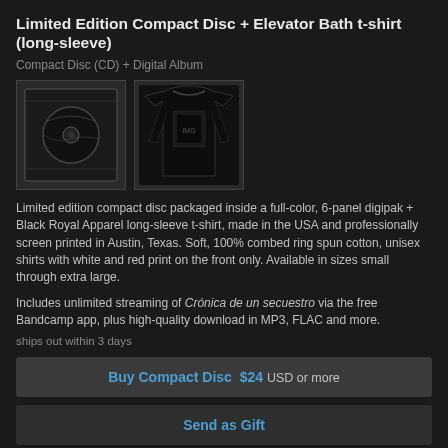Limited Edition Compact Disc + Elevator Bath t-shirt (long-sleeve)
Compact Disc (CD) + Digital Album
[Figure (photo): Two product images: a compact disc in a black digipak sleeve and a black long-sleeve t-shirt with a graphic print on the front.]
Limited edition compact disc packaged inside a full-color, 6-panel digipak +
Black Royal Apparel long-sleeve t-shirt, made in the USA and professionally screen printed in Austin, Texas. Soft, 100% combed ring spun cotton, unisex shirts with white and red print on the front only. Available in sizes small through extra large.
Includes unlimited streaming of Crónica de un secuestro via the free Bandcamp app, plus high-quality download in MP3, FLAC and more.
ships out within 3 days
Buy Compact Disc  $24  USD or more
Send as Gift